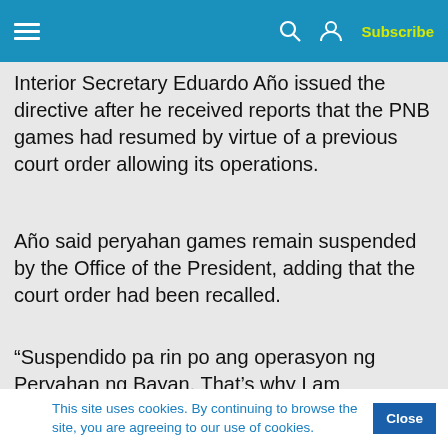Subscribe
Interior Secretary Eduardo Año issued the directive after he received reports that the PNB games had resumed by virtue of a previous court order allowing its operations.
Año said peryahan games remain suspended by the Office of the President, adding that the court order had been recalled.
“Suspendido pa rin po ang operasyon ng Peryahan ng Bayan. That's why I am instructing the PNP and LGUs to intensify the campaign against all forms of illegal...
This site uses cookies. By continuing to browse the site, you are agreeing to our use of cookies.